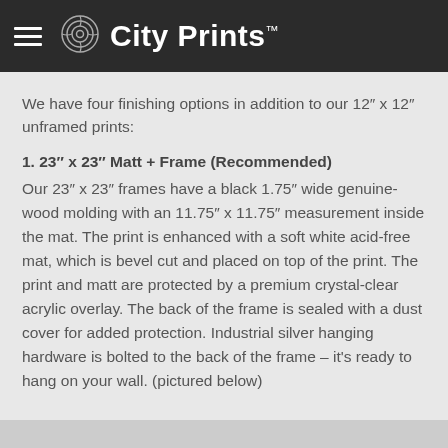City Prints™
We have four finishing options in addition to our 12″ x 12″ unframed prints:
1. 23″ x 23″ Matt + Frame (Recommended)
Our 23″ x 23″ frames have a black 1.75″ wide genuine-wood molding with an 11.75″ x 11.75″ measurement inside the mat. The print is enhanced with a soft white acid-free mat, which is bevel cut and placed on top of the print. The print and matt are protected by a premium crystal-clear acrylic overlay. The back of the frame is sealed with a dust cover for added protection. Industrial silver hanging hardware is bolted to the back of the frame – it's ready to hang on your wall. (pictured below)